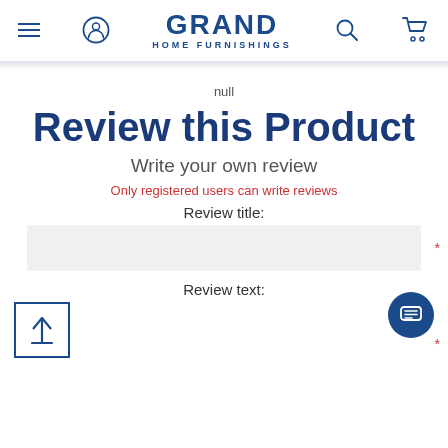Grand Home Furnishings
null
Review this Product
Write your own review
Only registered users can write reviews
Review title:
Review text: